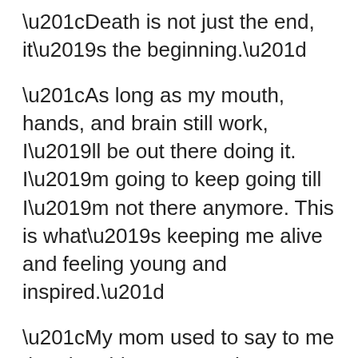“Death is not just the end, it’s the beginning.”
“As long as my mouth, hands, and brain still work, I’ll be out there doing it. I’m going to keep going till I’m not there anymore. This is what’s keeping me alive and feeling young and inspired.”
“My mom used to say to me that the older you get, the more friends you lose. That’s the way life is. You keep doing it until your time comes. I’m trying to enjoy my life, and keep doing what I love to do until my time comes. Hopefully I will inspire somebody along the